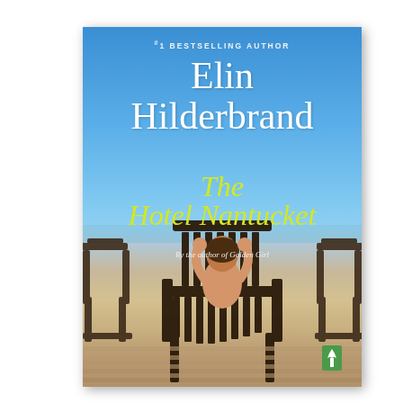[Figure (illustration): Book cover for 'The Hotel Nantucket' by Elin Hilderbrand. Blue sky background at top, transitioning to ocean horizon and a wooden deck at bottom. A person is seen from behind sitting in a wooden lounge chair with arms raised behind head. Additional lounge chairs visible on either side. Text overlaid: '#1 BESTSELLING AUTHOR' at top in small caps, 'Elin Hilderbrand' in large white serif font, 'The Hotel Nantucket' in yellow-green italic serif, 'By the author of Golden Girl' in small italic. Publisher logo (green leaf/tree) at bottom right.]